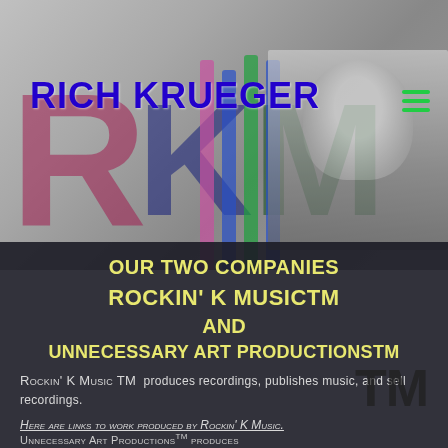[Figure (photo): Background photo of a man in grayscale with colored vertical bars (pink, blue, green) and large semi-transparent RKM letters overlay]
RICH KRUEGER
OUR TWO COMPANIES
ROCKIN' K MUSICTM
AND
UNNECESSARY ART PRODUCTIONSTM
Rockin' K Music TM  produces recordings, publishes music, and sell recordings.
Here are links to work produced by Rockin' K Music.
Unnecessary Art ProductionsTM produces